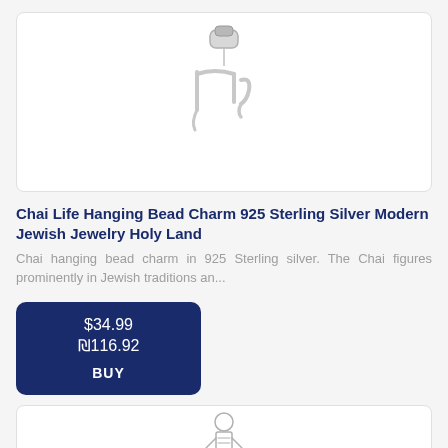[Figure (photo): Silver Chai Life Hanging Bead Charm on a white background inside a rounded rectangle card]
Chai Life Hanging Bead Charm 925 Sterling Silver Modern Jewish Jewelry Holy Land
Chai hanging bead charm in 925 Sterling silver. The Chai figures prominently in Jewish traditions an...
$34.99
₪116.92
BUY
[Figure (photo): Silver figurine charm (person/soldier shape) on a white background inside a rounded rectangle card]